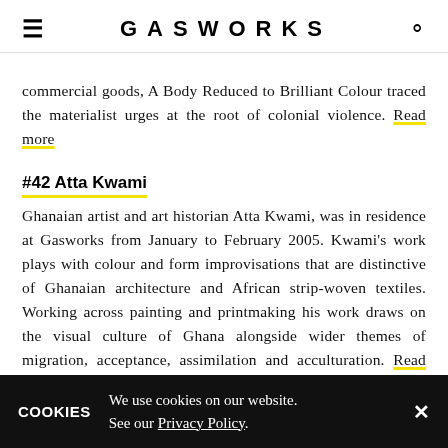GASWORKS
commercial goods, A Body Reduced to Brilliant Colour traced the materialist urges at the root of colonial violence. Read more
#42 Atta Kwami
Ghanaian artist and art historian Atta Kwami, was in residence at Gasworks from January to February 2005. Kwami's work plays with colour and form improvisations that are distinctive of Ghanaian architecture and African strip-woven textiles. Working across painting and printmaking his work draws on the visual culture of Ghana alongside wider themes of migration, acceptance, assimilation and acculturation. Read more
COOKIES  We use cookies on our website. See our Privacy Policy.